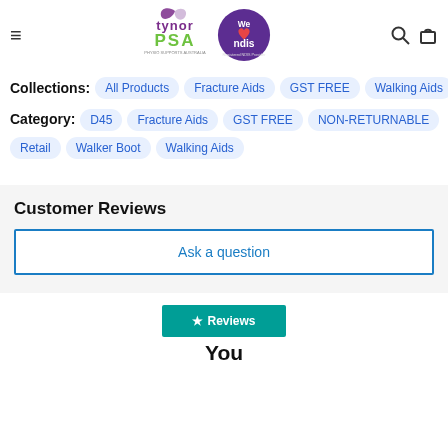[Figure (logo): Tynor PSA logo with teal swoosh and purple text, and We Love NDIS purple circular badge - Registered NDIS Provider]
Collections: All Products  Fracture Aids  GST FREE  Walking Aids
Category: D45  Fracture Aids  GST FREE  NON-RETURNABLE  Retail  Walker Boot  Walking Aids
Customer Reviews
Ask a question
★ Reviews
You may also like